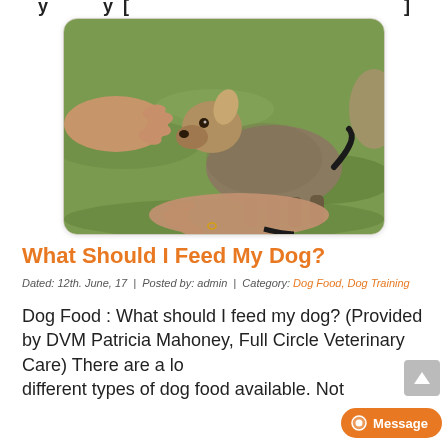What Should I Feed My Dog?
[Figure (photo): A small terrier-mix dog sniffing/interacting with two human hands outdoors on grass]
What Should I Feed My Dog?
Dated: 12th. June, 17  |  Posted by: admin  |  Category: Dog Food, Dog Training
Dog Food : What should I feed my dog? (Provided by DVM Patricia Mahoney, Full Circle Veterinary Care) There are a lot of different types of dog food available. Not